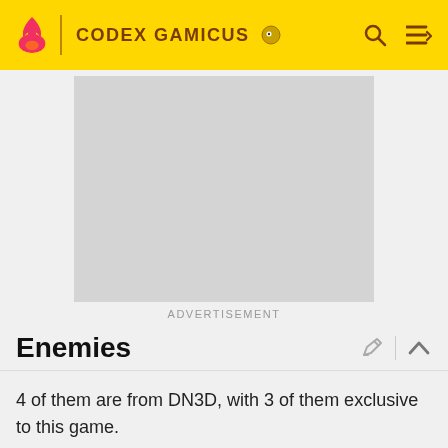CODEX GAMICUS
[Figure (screenshot): Advertisement placeholder — grey rectangle]
ADVERTISEMENT
Enemies
4 of them are from DN3D, with 3 of them exclusive to this game.